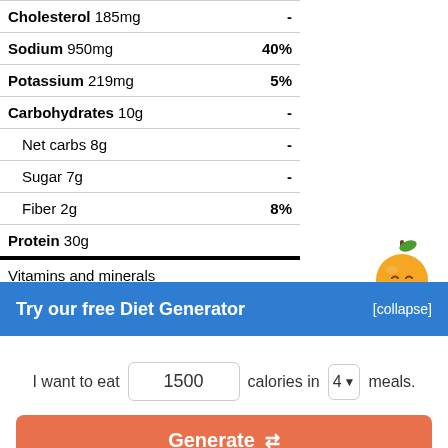| Nutrient | DV% |
| --- | --- |
| Cholesterol 185mg | - |
| Sodium 950mg | 40% |
| Potassium 219mg | 5% |
| Carbohydrates 10g | - |
| Net carbs 8g | - |
| Sugar 7g | - |
| Fiber 2g | 8% |
| Protein 30g |  |
| Vitamins and minerals |  |
| Vitamin D 1µg | 7% |
[Figure (illustration): Orange cartoon mascot character with smiley face]
Try our free Diet Generator
[collapse]
I want to eat 1500 calories in 4 meals.
Generate